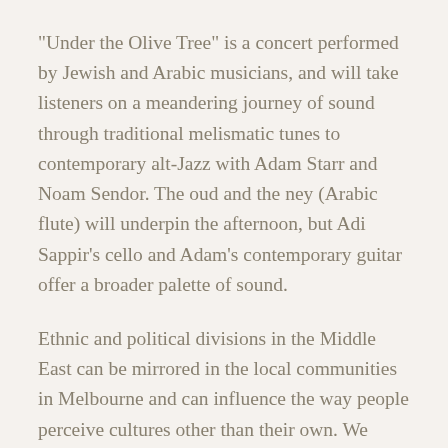"Under the Olive Tree" is a concert performed by Jewish and Arabic musicians, and will take listeners on a meandering journey of sound through traditional melismatic tunes to contemporary alt-Jazz with Adam Starr and Noam Sendor. The oud and the ney (Arabic flute) will underpin the afternoon, but Adi Sappir's cello and Adam's contemporary guitar offer a broader palette of sound.
Ethnic and political divisions in the Middle East can be mirrored in the local communities in Melbourne and can influence the way people perceive cultures other than their own. We believe new bridges can be built here in Australia that may reflect back to the Middle East and help heal those long lasting conflicts. "Under the Olive Tree" will give a rare opportunity for people of Arabic and